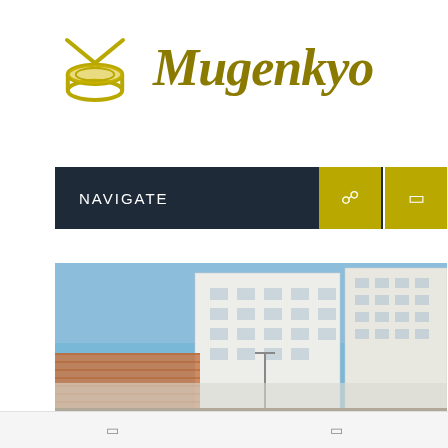[Figure (logo): Mugenkyo logo with a golden drum icon and italic text 'Mugenkyo' in olive/gold color]
NAVIGATE
[Figure (photo): Outdoor urban scene showing white multi-story buildings against a blue sky, with a lower red-brick structure in the foreground left]